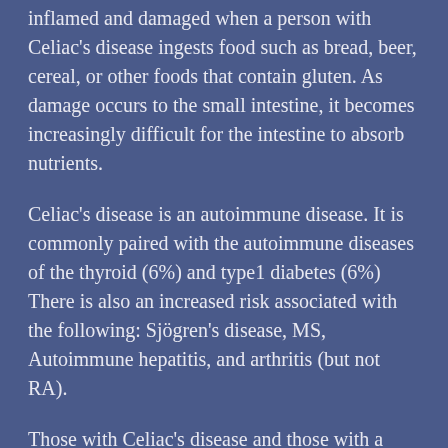inflamed and damaged when a person with Celiac's disease ingests food such as bread, beer, cereal, or other foods that contain gluten. As damage occurs to the small intestine, it becomes increasingly difficult for the intestine to absorb nutrients.
Celiac's disease is an autoimmune disease. It is commonly paired with the autoimmune diseases of the thyroid (6%) and type1 diabetes (6%) There is also an increased risk associated with the following: Sjögren's disease, MS, Autoimmune hepatitis, and arthritis (but not RA).
Those with Celiac's disease and those with a gluten sensitivity should not eat foods containing gluten, such as bread, pasta, and cereal. The gluten will make them sick. A gluten free diet is the cure for Celiac's disease. Those with Celiac's disease may experience joint pain